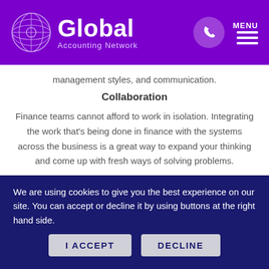Global Accounting Network
management styles, and communication.
Collaboration
Finance teams cannot afford to work in isolation. Integrating the work that's being done in finance with the systems across the business is a great way to expand your thinking and come up with fresh ways of solving problems.
[Figure (logo): Global Accounting Network logo on red banner background]
We are using cookies to give you the best experience on our site. You can accept or decline it by using buttons at the right hand side.